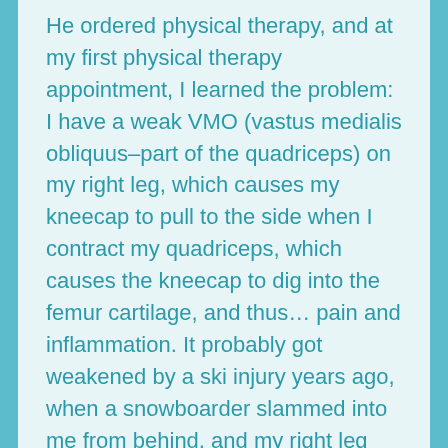He ordered physical therapy, and at my first physical therapy appointment, I learned the problem: I have a weak VMO (vastus medialis obliquus–part of the quadriceps) on my right leg, which causes my kneecap to pull to the side when I contract my quadriceps, which causes the kneecap to dig into the femur cartilage, and thus… pain and inflammation. It probably got weakened by a ski injury years ago, when a snowboarder slammed into me from behind, and my right leg was ripped out of the ski binding.

The reason I found this fascinating is that during all of my long-distance running the past few